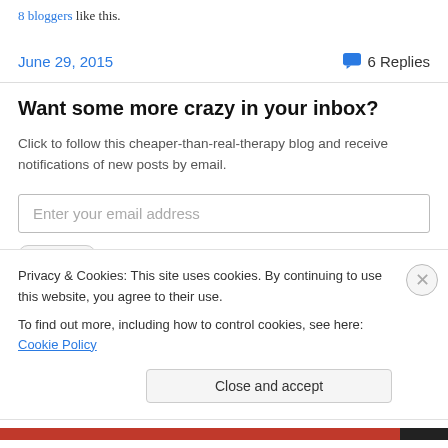8 bloggers like this.
June 29, 2015  💬 6 Replies
Want some more crazy in your inbox?
Click to follow this cheaper-than-real-therapy blog and receive notifications of new posts by email.
Enter your email address
Privacy & Cookies: This site uses cookies. By continuing to use this website, you agree to their use.
To find out more, including how to control cookies, see here: Cookie Policy
Close and accept